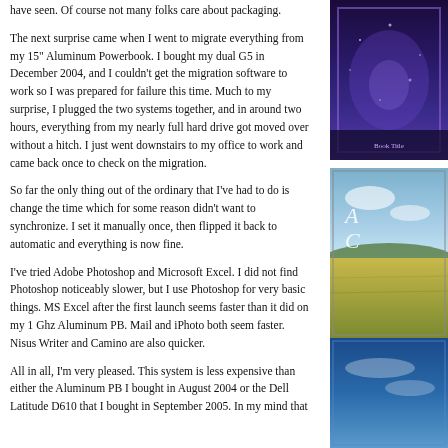have seen. Of course not many folks care about packaging.
The next surprise came when I went to migrate everything from my 15" Aluminum Powerbook. I bought my dual G5 in December 2004, and I couldn't get the migration software to work so I was prepared for failure this time. Much to my surprise, I plugged the two systems together, and in around two hours, everything from my nearly full hard drive got moved over without a hitch. I just went downstairs to my office to work and came back once to check on the migration.
So far the only thing out of the ordinary that I've had to do is change the time which for some reason didn't want to synchronize. I set it manually once, then flipped it back to automatic and everything is now fine.
I've tried Adobe Photoshop and Microsoft Excel. I did not find Photoshop noticeably slower, but I use Photoshop for very basic things. MS Excel after the first launch seems faster than it did on my 1 Ghz Aluminum PB. Mail and iPhoto both seem faster. Nisus Writer and Camino are also quicker.
All in all, I'm very pleased. This system is less expensive than either the Aluminum PB I bought in August 2004 or the Dell Latitude D610 that I bought in September 2005. In my mind that
[Figure (photo): Book cover image with blue/purple tones]
[Figure (photo): Book cover with landscape field and sky, letters A and C visible]
[Figure (photo): Partial photo with blue sky tones at bottom of sidebar]